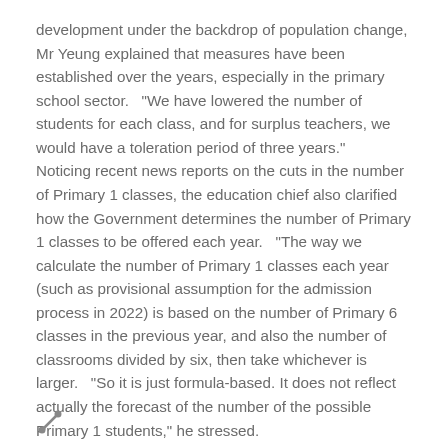development under the backdrop of population change, Mr Yeung explained that measures have been established over the years, especially in the primary school sector.   "We have lowered the number of students for each class, and for surplus teachers, we would have a toleration period of three years."   Noticing recent news reports on the cuts in the number of Primary 1 classes, the education chief also clarified how the Government determines the number of Primary 1 classes to be offered each year.   "The way we calculate the number of Primary 1 classes each year (such as provisional assumption for the admission process in 2022) is based on the number of Primary 6 classes in the previous year, and also the number of classrooms divided by six, then take whichever is larger.   "So it is just formula-based. It does not reflect actually the forecast of the number of the possible Primary 1 students," he stressed.
http://dlvr.it/S6tjkg
[Figure (other): Share/arrow icon at bottom left]